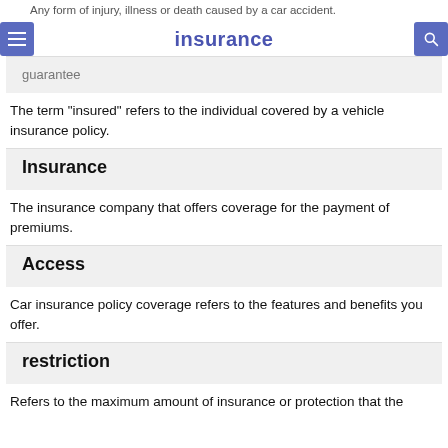Any form of injury, illness or death caused by a car accident. insurance
guarantee
The term "insured" refers to the individual covered by a vehicle insurance policy.
Insurance
The insurance company that offers coverage for the payment of premiums.
Access
Car insurance policy coverage refers to the features and benefits you offer.
restriction
Refers to the maximum amount of insurance or protection that the